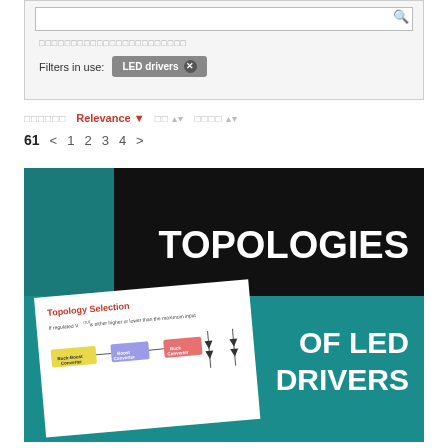Filters in use: LED drivers
Relevance  61  < 1 2 3 4 >
[Figure (screenshot): Screenshot of a webpage showing search results filtered by 'LED drivers'. Shows sort controls with 'Relevance' selected, pagination showing 61 results with pages 1-4, and a thumbnail image/card for a resource titled 'TOPOLOGIES OF LED DRIVERS' featuring a teal and black design with a 'Topology Selection' diagram slide visible.]